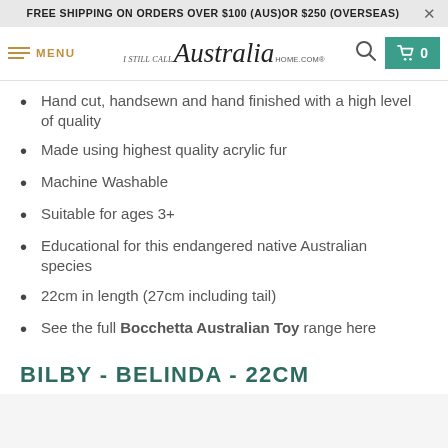FREE SHIPPING ON ORDERS OVER $100 (AUS)OR $250 (OVERSEAS)
[Figure (screenshot): Navigation bar with hamburger menu icon, MENU text, IStillCallAustralia HOME.COM logo, search icon, and cart button showing 0 items]
Hand cut, handsewn and hand finished with a high level of quality
Made using highest quality acrylic fur
Machine Washable
Suitable for ages 3+
Educational for this endangered native Australian species
22cm in length (27cm including tail)
See the full Bocchetta Australian Toy range here
BILBY - BELINDA - 22CM